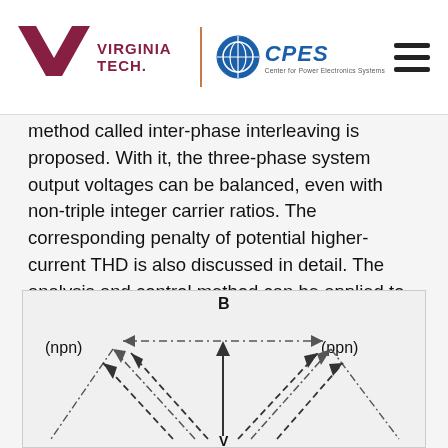Virginia Tech / CPES header with logos and menu
method called inter-phase interleaving is proposed. With it, the three-phase system output voltages can be balanced, even with non-triple integer carrier ratios. The corresponding penalty of potential higher-current THD is also discussed in detail. The analysis and control method can be applied to both two-level and multi-level converters. Experimental results verify the analysis and the feasibility of the proposed control method.
[Figure (engineering-diagram): Vector space diagram showing switching state vectors labeled (npn) and (ppn) with point B, connected by dashed-dotted and dashed arrows indicating switching transitions in a three-phase converter space vector diagram.]